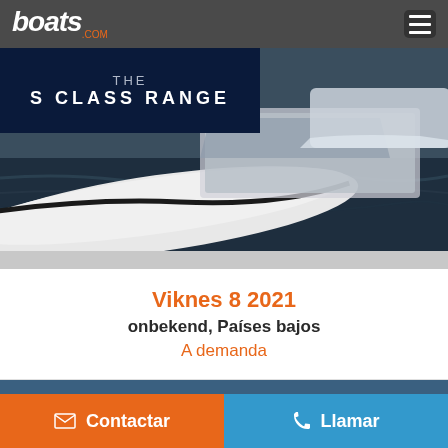boats.com
[Figure (photo): Advertisement banner for 'THE S CLASS RANGE' showing a luxury speedboat on water with dark navy overlay containing the text.]
Viknes 8 2021
onbekend, Países bajos
A demanda
[Figure (photo): Photo of a boat on blue water, partially visible, with a seabird in flight on the right side.]
Contactar
Llamar